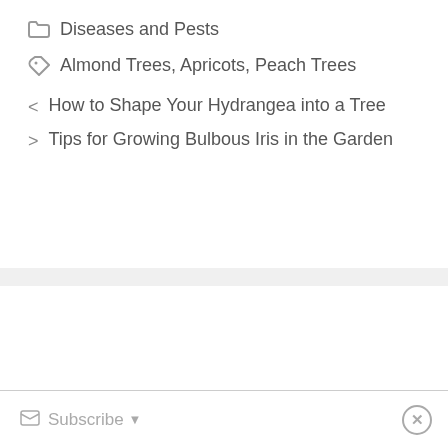Diseases and Pests
Almond Trees, Apricots, Peach Trees
How to Shape Your Hydrangea into a Tree
Tips for Growing Bulbous Iris in the Garden
Subscribe